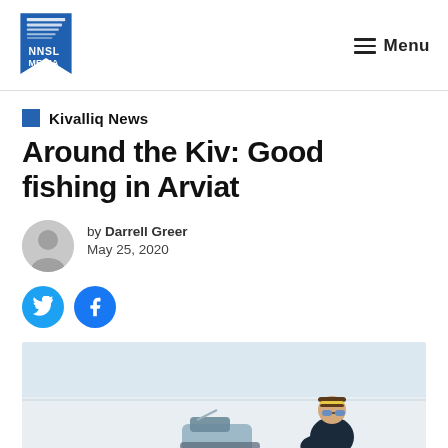NNSL Media — Menu
Kivalliq News
Around the Kiv: Good fishing in Arviat
by Darrell Greer
May 25, 2020
[Figure (photo): Person sitting outdoors on snow/ice, wearing winter clothing, hat, and sunglasses, with a snowmobile partially visible]